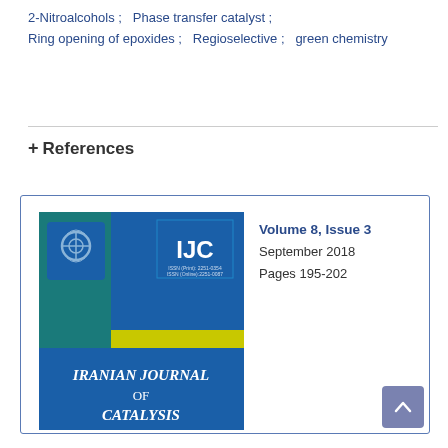2-Nitroalcohols ;   Phase transfer catalyst ;   Ring opening of epoxides ;   Regioselective ;   green chemistry
+ References
[Figure (illustration): Iranian Journal of Catalysis journal cover image with blue and teal background, IJC logo, yellow stripe, and title text 'Iranian Journal of Catalysis'. Volume 8, Issue 3, September 2018, Pages 195-202.]
Volume 8, Issue 3
September 2018
Pages 195-202
This website uses cookies to ensure you get the best experience on our website.
Got it!